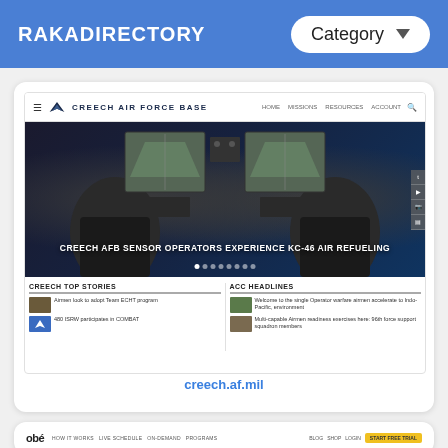RAKADIRECTORY | Category
[Figure (screenshot): Screenshot of Creech Air Force Base website showing a hero image of cockpit sensor operators and a headline 'CREECH AFB SENSOR OPERATORS EXPERIENCE KC-46 AIR REFUELING', with news sections for CREECH TOP STORIES and ACC HEADLINES]
creech.af.mil
[Figure (screenshot): Screenshot of Obe website header with logo, navigation links HOW IT WORKS, LIVE SCHEDULE, ON-DEMAND, PROGRAMS, and right-side links BLOG, SHOP, LOGIN, START FREE TRIAL button]